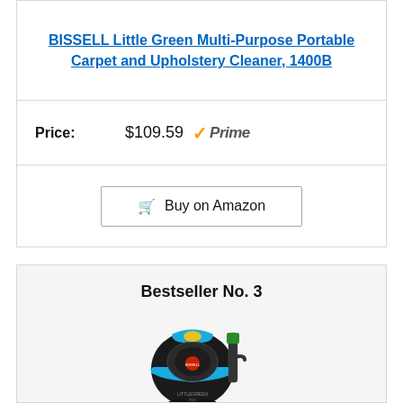BISSELL Little Green Multi-Purpose Portable Carpet and Upholstery Cleaner, 1400B
Price: $109.59 Prime
Buy on Amazon
Bestseller No. 3
[Figure (photo): BISSELL Little Green Pro portable carpet and upholstery cleaner in black and blue color]